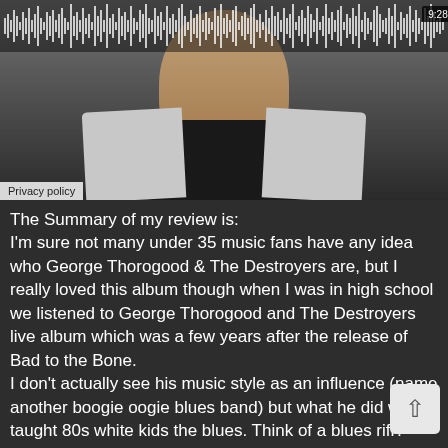[Figure (screenshot): Video player showing a man in a light grey jacket and dark shirt. Audio waveform visible at top. Timestamp 9:28 in top right corner. Privacy policy label at bottom left of video.]
The Summary of my review is:
I'm sure not many under 35 music fans have any idea who George Thorogood & The Destroyers are, but I really loved this album though when I was in high school we listened to George Thorogood and The Destroyers live album which was a few years after the release of Bad to the Bone.
I don't actually see his music style as an influence (name another boogie oogie blues band) but what he did was taught 80s white kids the blues. Think of a blues riff? Does it sound like Bad to the Bone? Yup. By introducing white north American kids to the blues he opened doors and eyes for young aspiring bands to seek out the roots of rock. This was very influential to upcoming rock artists. However, his style of music was a bit of a dying art form.